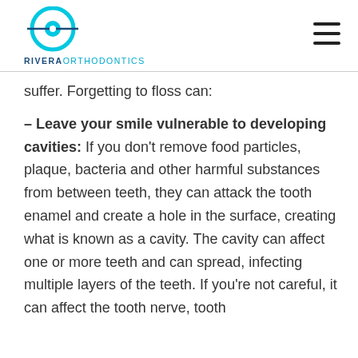[Figure (logo): Rivera Orthodontics logo with cyan circular icon and wordmark]
suffer. Forgetting to floss can:
– Leave your smile vulnerable to developing cavities: If you don't remove food particles, plaque, bacteria and other harmful substances from between teeth, they can attack the tooth enamel and create a hole in the surface, creating what is known as a cavity. The cavity can affect one or more teeth and can spread, infecting multiple layers of the teeth. If you're not careful, it can affect the tooth nerve, tooth